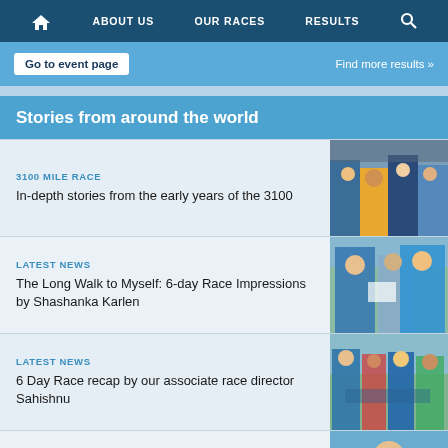ABOUT US | OUR RACES | RESULTS
Go to event page | Find more results »
Stories from around the world
3100 MILE RACE
In-depth stories from the early years of the 3100
[Figure (photo): Group of runners in athletic gear, one in yellow jacket]
LATEST NEWS
The Long Walk to Myself: 6-day Race Impressions by Shashanka Karlen
[Figure (photo): Two people in blue jackets shaking hands outdoors near a sign]
LATEST NEWS
6 Day Race recap by our associate race director Sahishnu
[Figure (photo): Group of people posing outdoors near a race sign]
CHANNEL & OPEN WATER SWIMMING
Abhejali nominated again for Open Water
[Figure (photo): Smiling man near water]